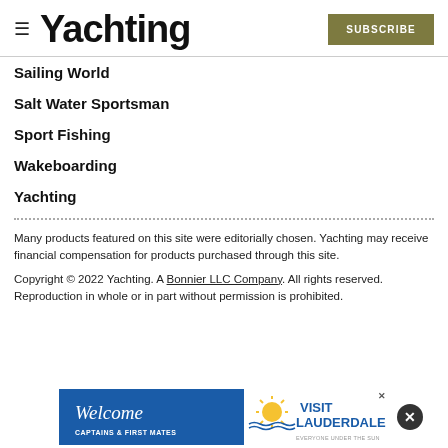Yachting | SUBSCRIBE
Sailing World
Salt Water Sportsman
Sport Fishing
Wakeboarding
Yachting
Many products featured on this site were editorially chosen. Yachting may receive financial compensation for products purchased through this site.
Copyright © 2022 Yachting. A Bonnier LLC Company. All rights reserved. Reproduction in whole or in part without permission is prohibited.
[Figure (infographic): Advertisement banner: Welcome Captains & First Mates | Visit Lauderdale - Everyone Under the Sun]